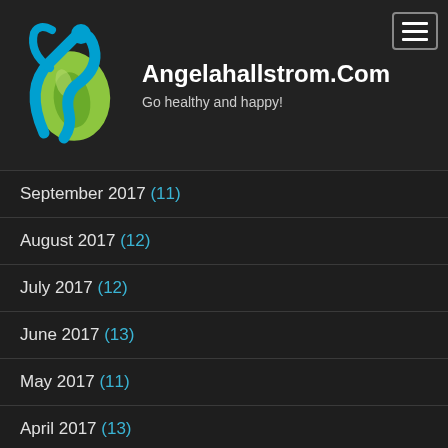[Figure (logo): Angelahallstrom.com logo: a stylized blue human figure with raised arms and a green leaf teardrop shape]
Angelahallstrom.Com
Go healthy and happy!
September 2017 (11)
August 2017 (12)
July 2017 (12)
June 2017 (13)
May 2017 (11)
April 2017 (13)
March 2017 (12)
February 2017 (12)
January 2017 (12)